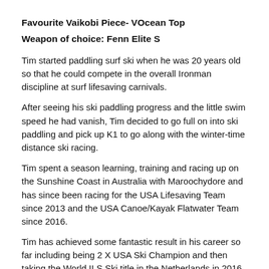Favourite Vaikobi Piece- VOcean Top
Weapon of choice: Fenn Elite S
Tim started paddling surf ski when he was 20 years old so that he could compete in the overall Ironman discipline at surf lifesaving carnivals.
After seeing his ski paddling progress and the little swim speed he had vanish, Tim decided to go full on into ski paddling and pick up K1 to go along with the winter-time distance ski racing.
Tim spent a season learning, training and racing up on the Sunshine Coast in Australia with Maroochydore and has since been racing for the USA Lifesaving Team since 2013 and the USA Canoe/Kayak Flatwater Team since 2016.
Tim has achieved some fantastic result in his career so far including being 2 X USA Ski Champion and then taking the World ILS Ski title in the Netherlands in 2016.
Tim has a massive second half of 2017 lined up